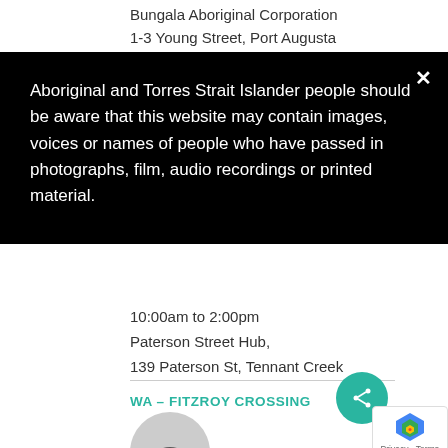Bungala Aboriginal Corporation
1-3 Young Street, Port Augusta
Aboriginal and Torres Strait Islander people should be aware that this website may contain images, voices or names of people who have passed in photographs, film, audio recordings or printed material.
10:00am to 2:00pm
Paterson Street Hub,
139 Paterson St, Tennant Creek
WA – FITZROY CROSSING
[Figure (illustration): Circular avatar placeholder with grey background and dark silhouette figure]
[Figure (other): Teal circular share button with share icon]
[Figure (other): Google reCAPTCHA badge with Privacy - Terms text]